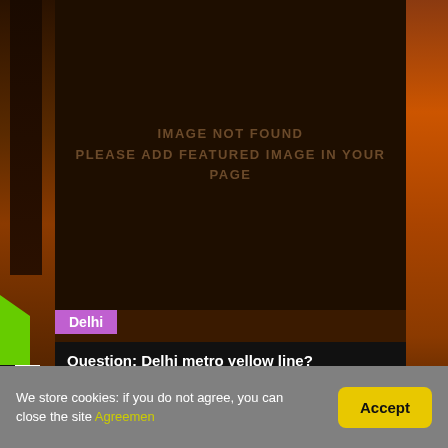[Figure (screenshot): Dark brown background panel showing 'IMAGE NOT FOUND / PLEASE ADD FEATURED IMAGE IN YOUR PAGE' placeholder message in muted brownish uppercase text. Decorative patterned fabric visible on left and right edges.]
Delhi
Question: Delhi metro yellow line?
[Figure (screenshot): Dark brown empty content panel below the question bar, part of the webpage layout.]
We store cookies: if you do not agree, you can close the site Agreemen
Accept